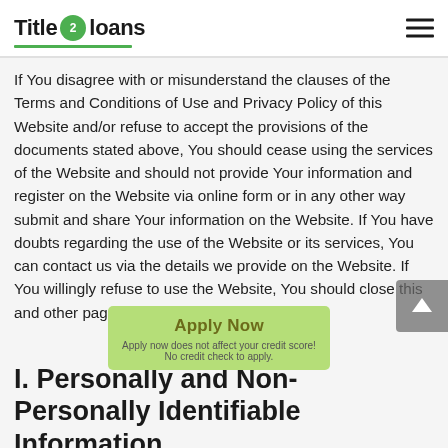Title 2 loans
If You disagree with or misunderstand the clauses of the Terms and Conditions of Use and Privacy Policy of this Website and/or refuse to accept the provisions of the documents stated above, You should cease using the services of the Website and should not provide Your information and register on the Website via online form or in any other way submit and share Your information on the Website. If You have doubts regarding the use of the Website or its services, You can contact us via the details we provide on the Website. If You willingly refuse to use the Website, You should close this and other pages of this Website.
[Figure (other): Green 'Apply Now' button overlay with text 'Apply now does not affect your credit score! No credit check to apply.']
I. Personally and Non-Personally Identifiable Information